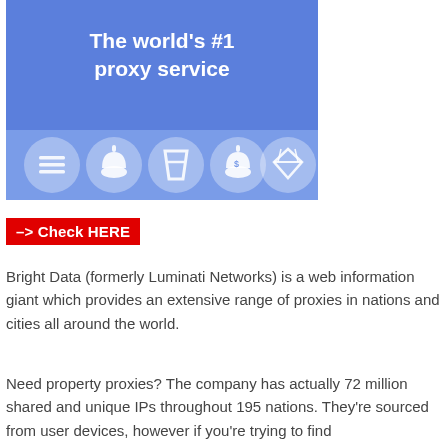[Figure (illustration): Banner advertisement for a proxy service showing 'The world's #1 proxy service' text in white on blue background with five circular icons below on a lighter blue strip]
-> Check HERE
Bright Data (formerly Luminati Networks) is a web information giant which provides an extensive range of proxies in nations and cities all around the world.
Need property proxies? The company has actually 72 million shared and unique IPs throughout 195 nations. They're sourced from user devices, however if you're trying to find